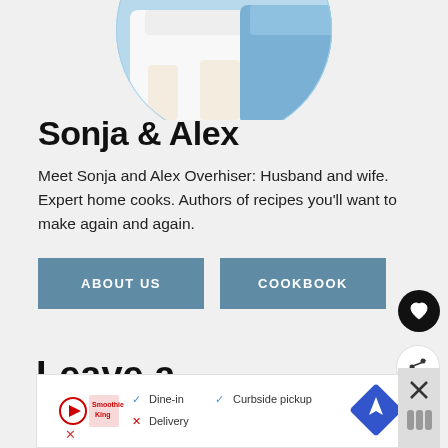[Figure (photo): Partial photo of Sonja and Alex Overhiser, cropped at top, showing torsos in white and blue shirt, circular crop style]
Sonja & Alex
Meet Sonja and Alex Overhiser: Husband and wife. Expert home cooks. Authors of recipes you'll want to make again and again.
ABOUT US
COOKBOOK
Leave a Comment
[Figure (other): Advertisement banner for Smoothie King showing dine-in, curbside pickup, delivery options with navigation icon]